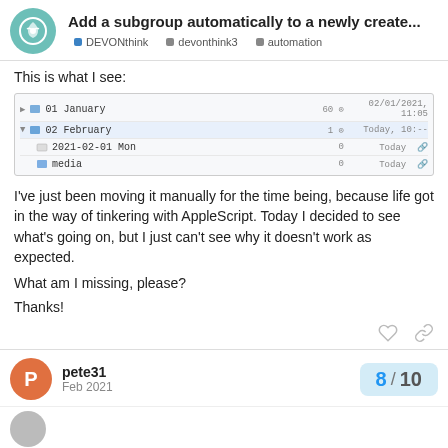Add a subgroup automatically to a newly create... | DEVONthink | devonthink3 | automation
This is what I see:
[Figure (screenshot): Screenshot of DEVONthink file browser showing: 01 January folder, 02 February folder (expanded) containing 2021-02-01 Mon and media, with counts and dates (02/01/2021, 11:05, Today)]
I've just been moving it manually for the time being, because life got in the way of tinkering with AppleScript. Today I decided to see what's going on, but I just can't see why it doesn't work as expected.
What am I missing, please?
Thanks!
pete31 | Feb 2021
8 / 10